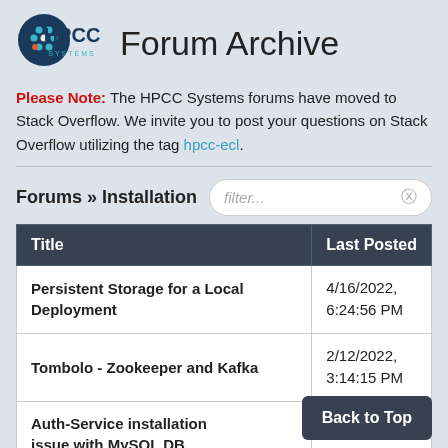[Figure (logo): HPCC Systems circular logo with dots on a dark blue circle]
Forum Archive
Please Note: The HPCC Systems forums have moved to Stack Overflow. We invite you to post your questions on Stack Overflow utilizing the tag hpcc-ecl.
Forums » Installation
| Title | Last Posted |
| --- | --- |
| Persistent Storage for a Local Deployment | 4/16/2022, 6:24:56 PM |
| Tombolo - Zookeeper and Kafka | 2/12/2022, 3:14:15 PM |
| Auth-Service installation issue with MySQL DB | 3:51:42 AM |
Back to Top